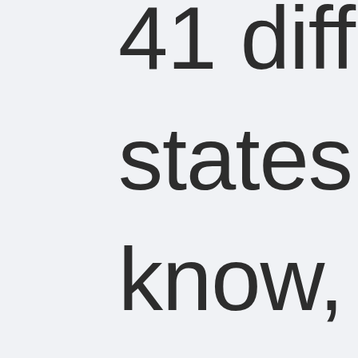41 different states. You know, I have a very strange